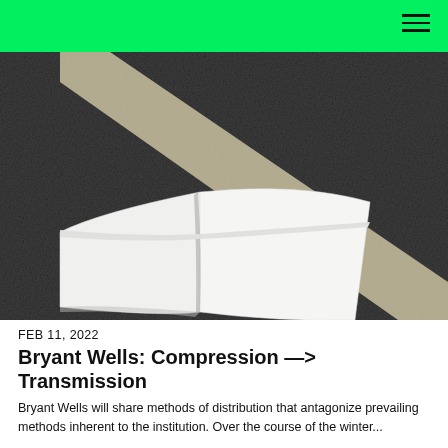[Figure (photo): Open blank magazine or book lying on dark asphalt road surface with a diagonal white road marking line crossing through the scene]
FEB 11, 2022
Bryant Wells: Compression —> Transmission
Bryant Wells will share methods of distribution that antagonize prevailing methods inherent to the institution. Over the course of the winter...